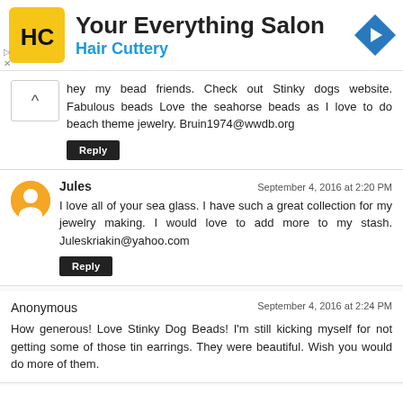[Figure (logo): Hair Cuttery ad banner with HC logo, 'Your Everything Salon' heading, 'Hair Cuttery' subtitle in blue, and a blue direction arrow icon]
hey my bead friends. Check out Stinky dogs website. Fabulous beads Love the seahorse beads as I love to do beach theme jewelry. Bruin1974@wwdb.org
Reply
Jules
September 4, 2016 at 2:20 PM
I love all of your sea glass. I have such a great collection for my jewelry making. I would love to add more to my stash. Juleskriakin@yahoo.com
Reply
Anonymous
September 4, 2016 at 2:24 PM
How generous! Love Stinky Dog Beads! I'm still kicking myself for not getting some of those tin earrings. They were beautiful. Wish you would do more of them.